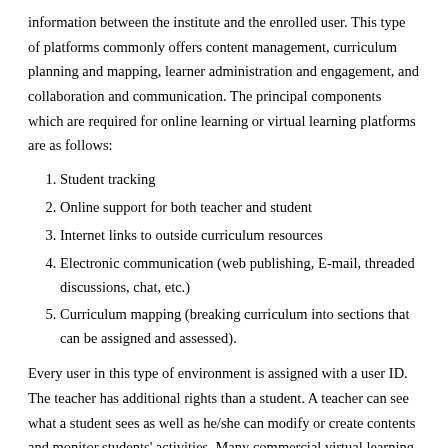information between the institute and the enrolled user. This type of platforms commonly offers content management, curriculum planning and mapping, learner administration and engagement, and collaboration and communication. The principal components which are required for online learning or virtual learning platforms are as follows:
Student tracking
Online support for both teacher and student
Internet links to outside curriculum resources
Electronic communication (web publishing, E-mail, threaded discussions, chat, etc.)
Curriculum mapping (breaking curriculum into sections that can be assigned and assessed).
Every user in this type of environment is assigned with a user ID. The teacher has additional rights than a student. A teacher can see what a student sees as well as he/she can modify or create contents and monitor students' activities. Many commercial virtual learning software are available such as COSE,[11] WebCT,[12] and Lotus LearningSpace.